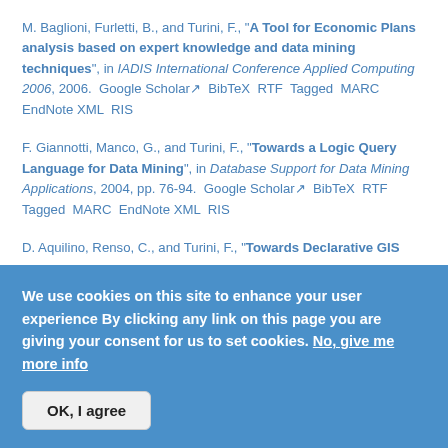M. Baglioni, Furletti, B., and Turini, F., "A Tool for Economic Plans analysis based on expert knowledge and data mining techniques", in IADIS International Conference Applied Computing 2006, 2006. Google Scholar BibTeX RTF Tagged MARC EndNote XML RIS
F. Giannotti, Manco, G., and Turini, F., "Towards a Logic Query Language for Data Mining", in Database Support for Data Mining Applications, 2004, pp. 76-94. Google Scholar BibTeX RTF Tagged MARC EndNote XML RIS
D. Aquilino, Renso, C., and Turini, F., "Towards Declarative GIS
We use cookies on this site to enhance your user experience By clicking any link on this page you are giving your consent for us to set cookies. No, give me more info
OK, I agree